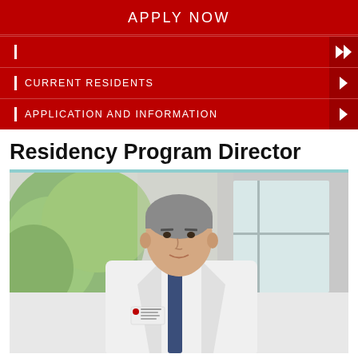APPLY NOW
CURRENT RESIDENTS
APPLICATION AND INFORMATION
Residency Program Director
[Figure (photo): Professional headshot of a male physician in a white lab coat with a blue tie, standing in front of a window with greenery visible outside. He has short grey hair and is smiling. An Ohio State University badge is visible on his coat.]